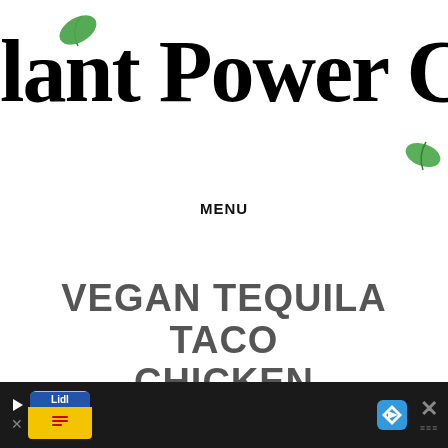[Figure (logo): Plant Power Couple logo with green leaf icons and large bold serif text]
MENU
VEGAN TEQUILA TACO CHICKEN
February 5, 2021 - Brittany Roche
[Figure (photo): Food photo strip showing taco/chicken dish]
[Figure (other): Advertisement bar at bottom with Lidl ad, navigation arrow, and close button]